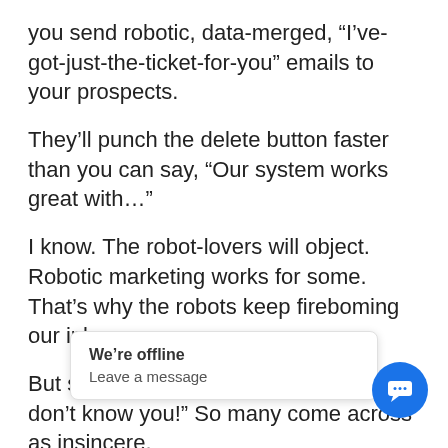you send robotic, data-merged, “I’ve-got-just-the-ticket-for-you” emails to your prospects.
They’ll punch the delete button faster than you can say, “Our system works great with…”
I know. The robot-lovers will object. Robotic marketing works for some. That’s why the robots keep fireboming our inboxes.
But so many robotic emails scream, “I don’t know you!” So many come across as insincere.
“We’re great at helping Founder & CSO (Chief Story Officer)’s achieve…?”
Really, Chad? Name one you’ve helped.
Chad’s playing th… ga… Harvest 8,000 to… or… and let ’er rip.
[Figure (other): We're offline chat widget overlay with 'We're offline' and 'Leave a message' text, and a blue circular chat bubble button]